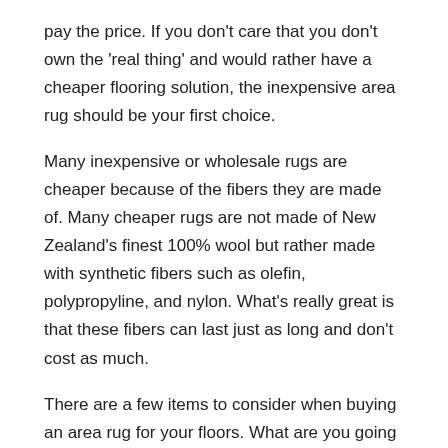pay the price. If you don't care that you don't own the 'real thing' and would rather have a cheaper flooring solution, the inexpensive area rug should be your first choice.
Many inexpensive or wholesale rugs are cheaper because of the fibers they are made of. Many cheaper rugs are not made of New Zealand's finest 100% wool but rather made with synthetic fibers such as olefin, polypropyline, and nylon. What's really great is that these fibers can last just as long and don't cost as much.
There are a few items to consider when buying an area rug for your floors. What are you going to use the rug for? Is it going in the kitchen, living room, outside, dining room, bedroom, or maybe even the playroom? This is something you need to decide. Obviously, if you are going to buy a rug that will endure much use, such as in a playroom, you don't need the world's finest.
Secondly, how big does the rug need to be? Most rugs don't need